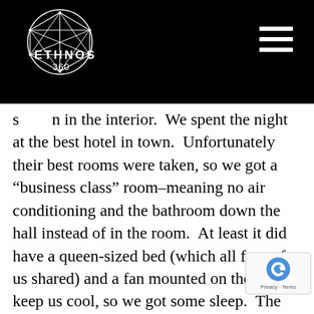ETHNOS 360
s[...] in the interior.  We spent the night at the best hotel in town.  Unfortunately their best rooms were taken, so we got a “business class” room–meaning no air conditioning and the bathroom down the hall instead of in the room.  At least it did have a queen-sized bed (which all four of us shared) and a fan mounted on the wall to keep us cool, so we got some sleep.  The next morning we shopped for vegetables at the open market, loaded our boat, and headed upriver.  Due to a leaking boat and motor trouble, our trip u[priver was] long and eventful.  We would have preferred